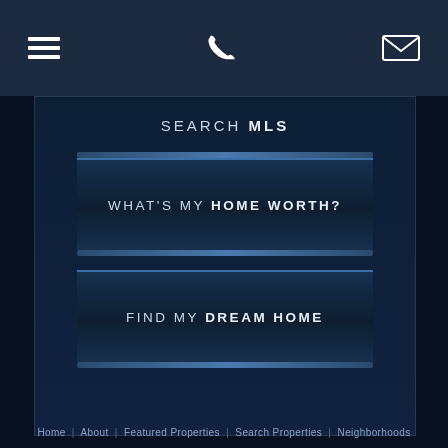[hamburger icon] [phone icon] [mail icon]
SEARCH MLS
WHAT'S MY HOME WORTH?
FIND MY DREAM HOME
Home | About | Featured Properties | Search Properties | Neighborhoods